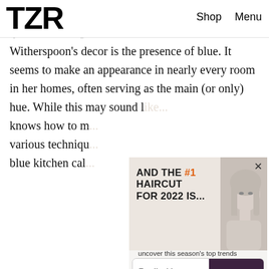TZR   Shop   Menu
erps — most defining characteristic of
Witherspoon's decor is the presence of blue. It seems to make an appearance in nearly every room in her homes, often serving as the main (or only) hue. While this may sound like... knows how to m... various techniqu... blue kitchen cal...
[Figure (other): Popup advertisement overlay showing 'AND THE #1 HAIRCUT FOR 2022 IS...' with a photo of a blonde woman and a close button (×)]
Join The List
Sign up for TZR's exclusive email list to uncover this season's top trends
Email address   Subscribe